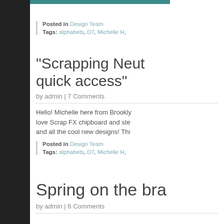Posted in Design Team
Tags: alphabets, DT, Michelle H,
“Scrapping Neut… quick access”
by admin | 7 Comments
Hello! Michelle here from Brookly… love Scrap FX chipboard and ste… and all the cool new designs! Thi…
Posted in Design Team
Tags: alphabets, DT, Michelle H,
Spring on the bra…
by admin | 6 Comments